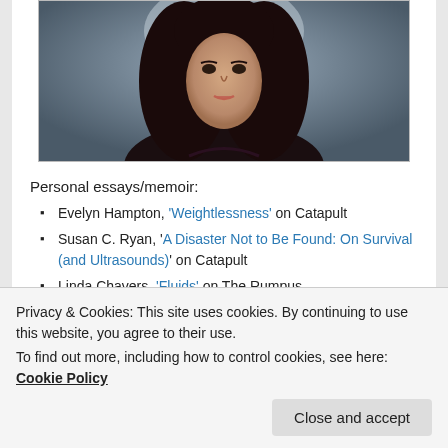[Figure (photo): Portrait photo of a young woman with long dark hair against a dark grey background, wearing a dark floral patterned top.]
Personal essays/memoir:
Evelyn Hampton, 'Weightlessness' on Catapult
Susan C. Ryan, 'A Disaster Not to Be Found: On Survival (and Ultrasounds)' on Catapult
Linda Chavers, 'Fluids' on The Rumpus
Porochista Khakpour, 'Portrait of the Artist as a
Privacy & Cookies: This site uses cookies. By continuing to use this website, you agree to their use. To find out more, including how to control cookies, see here: Cookie Policy
Close and accept